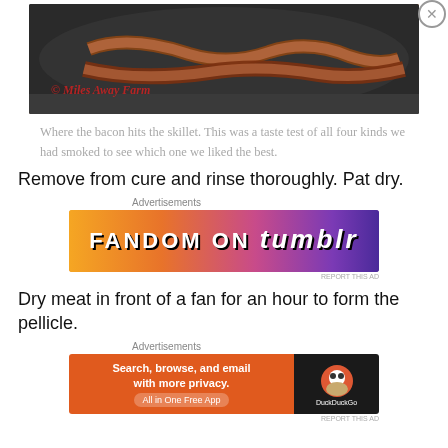[Figure (photo): Bacon strips cooking in a dark skillet/pan, viewed from above. Watermark reads '© Miles Away Farm' in red italic text.]
Where the bacon hits the skillet. This was a taste test of all four kinds we had smoked to see which one we liked the best.
Remove from cure and rinse thoroughly. Pat dry.
[Figure (other): Advertisement banner: FANDOM ON tumblr - colorful gradient background with orange, pink, and purple colors]
Dry meat in front of a fan for an hour to form the pellicle.
[Figure (other): Advertisement banner: DuckDuckGo - Search, browse, and email with more privacy. All in One Free App]